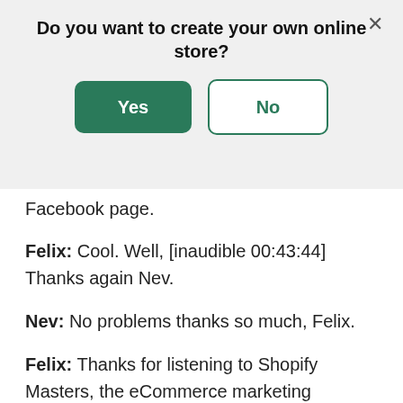Do you want to create your own online store?
Yes | No
Facebook page.
Felix: Cool. Well, [inaudible 00:43:44] Thanks again Nev.
Nev: No problems thanks so much, Felix.
Felix: Thanks for listening to Shopify Masters, the eCommerce marketing podcast for ambitious entrepreneurs. To start your store today visit shopify.com/masters, to claim your 30-day trial.